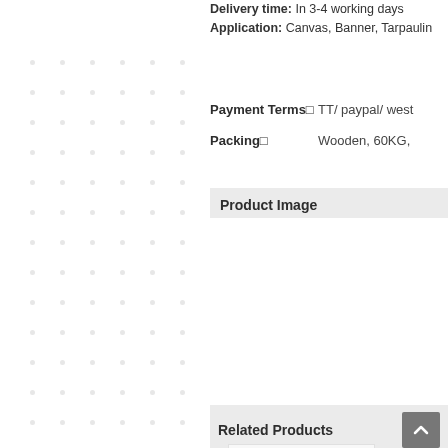Delivery time: In 3-4 working days
Application: Canvas, Banner, Tarpaulin
Payment Terms□	TT/ paypal/ west...
Packing□	Wooden, 60KG, ...
Product Image
Related Products
[Figure (photo): Product image area (empty/white)]
[Figure (photo): Related product thumbnail image]